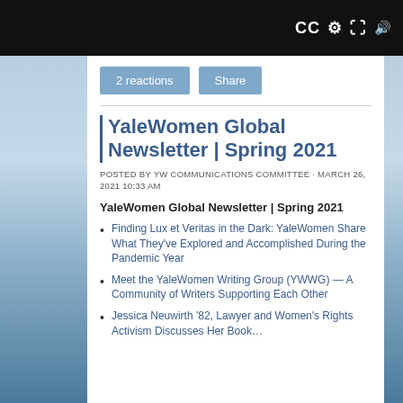[Figure (screenshot): Video player black bar with CC, settings, fullscreen, and volume control icons on white background]
2 reactions   Share
YaleWomen Global Newsletter | Spring 2021
POSTED BY YW COMMUNICATIONS COMMITTEE · MARCH 26, 2021 10:33 AM
YaleWomen Global Newsletter | Spring 2021
Finding Lux et Veritas in the Dark: YaleWomen Share What They've Explored and Accomplished During the Pandemic Year
Meet the YaleWomen Writing Group (YWWG) — A Community of Writers Supporting Each Other
Jessica Neuwirth '82, Lawyer and Women's Rights Activist Discusses Her Book…